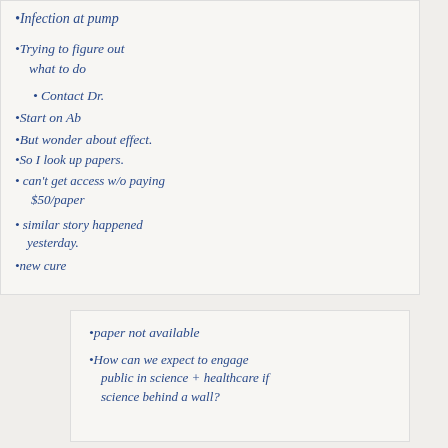•Infection at pump
•Trying to figure out what to do
• Contact Dr.
•Start on Ab
•But wonder about effect.
•So I look up papers.
• can't get access w/o paying $50/paper
• similar story happened yesterday.
•new cure
•paper not available
•How can we expect to engage public in science + healthcare if science behind a wall?